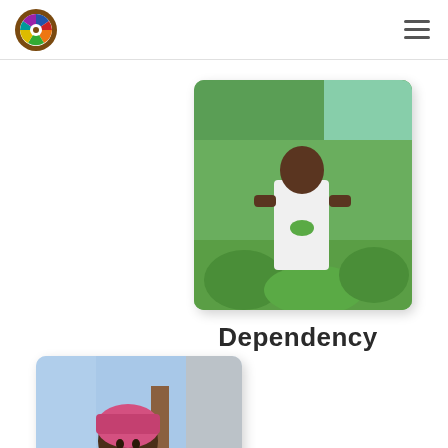[Figure (logo): Circular logo with colorful geometric pattern — blue, red, orange, green segments on a brown/gold ring, white center]
[Figure (photo): Woman standing in a green agricultural field holding leafy plants, wearing a white top, outdoor setting]
Dependency
[Figure (photo): Woman wearing a pink headwrap and white t-shirt, smiling outdoors near a wooden pole, rural setting]